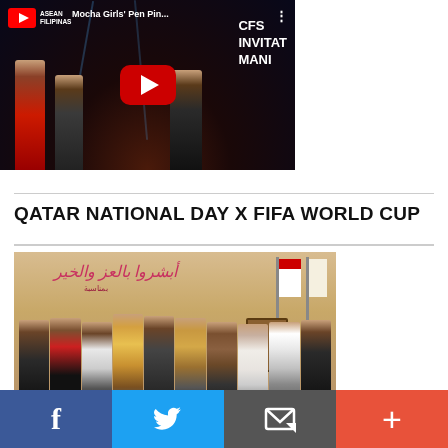[Figure (screenshot): YouTube video thumbnail: 'Mocha Girls Pen Pin...' showing performers on stage with CFS INVITATIONAL MANILA text visible on right]
QATAR NATIONAL DAY X FIFA WORLD CUP
[Figure (photo): Group photo of dignitaries at Qatar National Day event with Arabic text backdrop and flags]
f  (twitter bird)  (envelope icon)  +